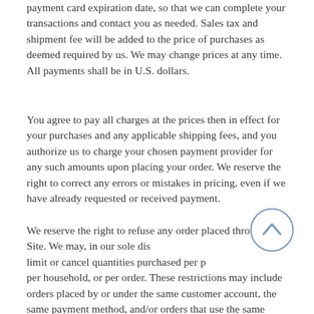payment card expiration date, so that we can complete your transactions and contact you as needed. Sales tax and shipment fee will be added to the price of purchases as deemed required by us. We may change prices at any time. All payments shall be in U.S. dollars.
You agree to pay all charges at the prices then in effect for your purchases and any applicable shipping fees, and you authorize us to charge your chosen payment provider for any such amounts upon placing your order. We reserve the right to correct any errors or mistakes in pricing, even if we have already requested or received payment.
We reserve the right to refuse any order placed through the Site. We may, in our sole discretion, limit or cancel quantities purchased per person, per household, or per order. These restrictions may include orders placed by or under the same customer account, the same payment method, and/or orders that use the same billing or shipping address. We reserve the right to limit
[Figure (other): A circular scroll-to-top button with an upward chevron arrow icon, outlined in blue-gray]